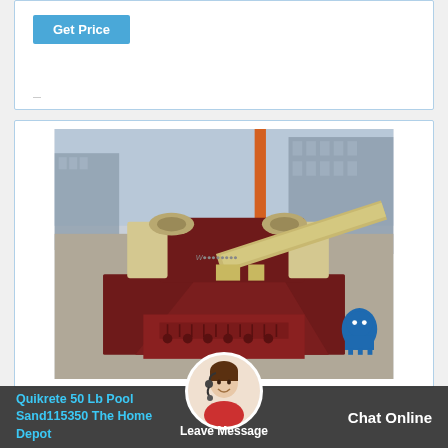Get Price
[Figure (photo): Industrial jaw crusher / rock crushing machine photographed outdoors in a factory yard, painted dark red/maroon and cream/beige, with buildings in background]
Quikrete 50 Lb Pool Sand115350 The Home Depot
Leave Message
Chat Online